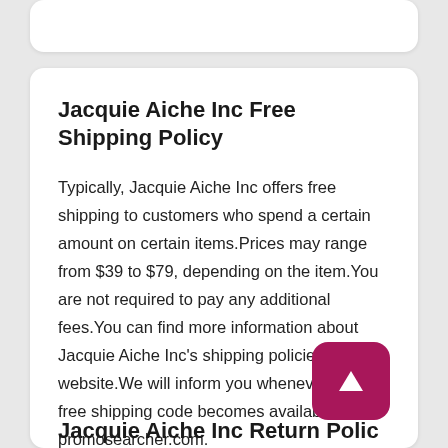Jacquie Aiche Inc Free Shipping Policy
Typically, Jacquie Aiche Inc offers free shipping to customers who spend a certain amount on certain items.Prices may range from $39 to $79, depending on the item.You are not required to pay any additional fees.You can find more information about Jacquie Aiche Inc's shipping policies on their website.We will inform you whenever a new free shipping code becomes available on promosearcher.com.
Jacquie Aiche Inc Return Polic